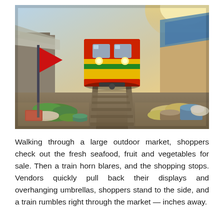[Figure (photo): A colorful red and yellow train passing through the Maeklong Railway Market in Thailand. Vendors' produce including vegetables and fruits are displayed on both sides of the railway tracks. Market stalls with tarps line both sides. A red flag is visible on the left.]
Walking through a large outdoor market, shoppers check out the fresh seafood, fruit and vegetables for sale. Then a train horn blares, and the shopping stops. Vendors quickly pull back their displays and overhanging umbrellas, shoppers stand to the side, and a train rumbles right through the market — inches away.